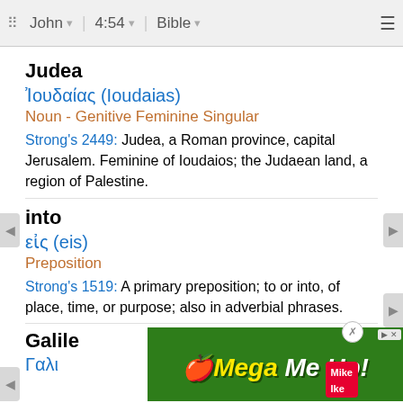John | 4:54 | Bible
Judea
Ἰουδαίας (Ioudaias)
Noun - Genitive Feminine Singular
Strong's 2449: Judea, a Roman province, capital Jerusalem. Feminine of Ioudaios; the Judaean land, a region of Palestine.
into
εἰς (eis)
Preposition
Strong's 1519: A primary preposition; to or into, of place, time, or purpose; also in adverbial phrases.
Galile…
Γαλι…
[Figure (other): Advertisement banner: colorful 'Mega Me Up!' ad with fruit imagery]